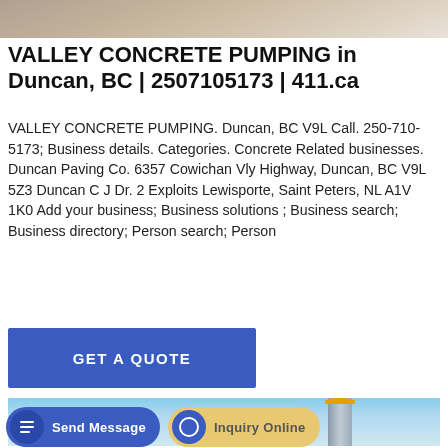[Figure (photo): Top banner photo of a construction/concrete-related background, sandy/earthy tones]
VALLEY CONCRETE PUMPING in Duncan, BC | 2507105173 | 411.ca
VALLEY CONCRETE PUMPING. Duncan, BC V9L Call. 250-710-5173; Business details. Categories. Concrete Related businesses. Duncan Paving Co. 6357 Cowichan Vly Highway, Duncan, BC V9L 5Z3 Duncan C J Dr. 2 Exploits Lewisporte, Saint Peters, NL A1V 1K0 Add your business; Business solutions ; Business search; Business directory; Person search; Person
[Figure (other): Blue button labeled GET A QUOTE]
[Figure (photo): Photo of a concrete silo/plant with blue sky, trees, and construction equipment]
[Figure (other): Bottom action bar with Send Message and Inquiry Online buttons]